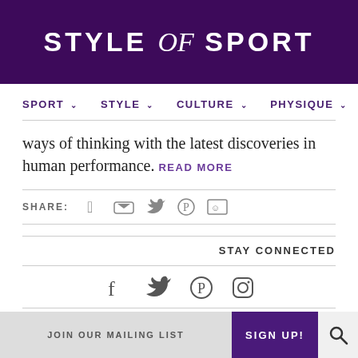STYLE of SPORT
SPORT ∨   STYLE ∨   CULTURE ∨   PHYSIQUE ∨
ways of thinking with the latest discoveries in human performance. READ MORE
SHARE:
STAY CONNECTED
JOIN OUR MAILING LIST  SIGN UP!